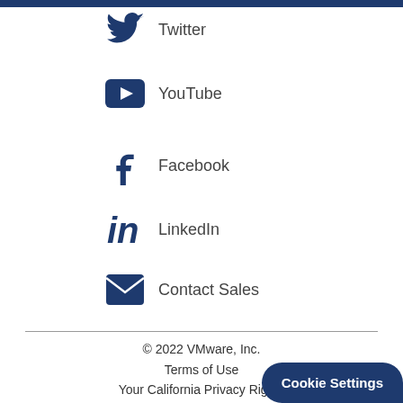Twitter
YouTube
Facebook
LinkedIn
Contact Sales
© 2022 VMware, Inc.
Terms of Use
Your California Privacy Rights
Privacy
Cookie Settings